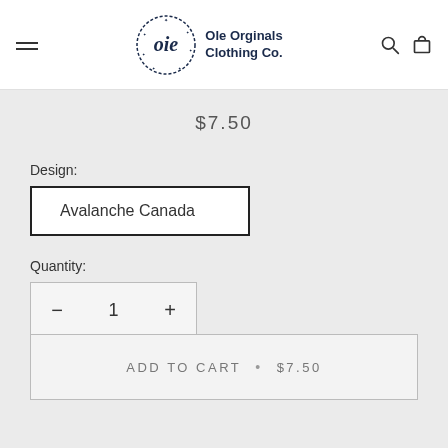[Figure (logo): Ole Originals Clothing Co. circular stamp logo with stylized 'oie' text and stars]
$7.50
Design:
Avalanche Canada
Quantity:
1
ADD TO CART • $7.50